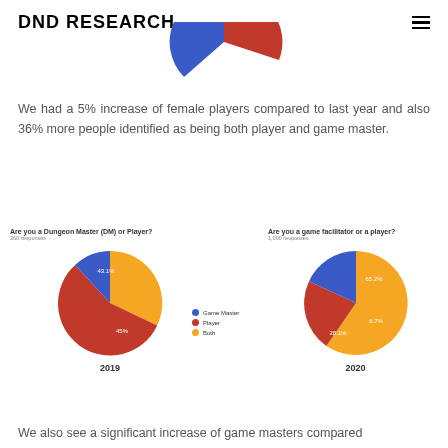DND RESEARCH
[Figure (pie-chart): Partial view of a pie chart showing blue and red slices at the top of the page, cropped]
We had a 5% increase of female players compared to last year and also 36% more people identified as being both player and game master.
[Figure (pie-chart): Are you a Dungeon Master (DM) or Player? 260 responses]
[Figure (pie-chart): Are you a game facilitator or a player? 1,000 responses]
We also see a significant increase of game masters compared